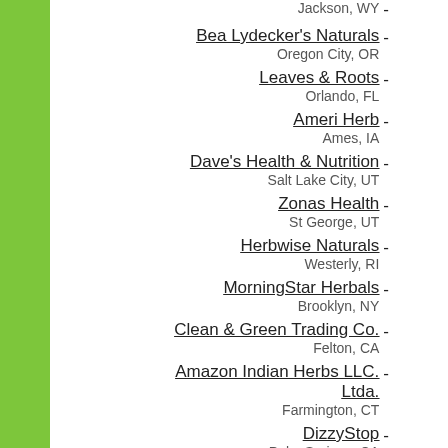Jackson, WY
Bea Lydecker's Naturals - Oregon City, OR
Leaves & Roots - Orlando, FL
Ameri Herb - Ames, IA
Dave's Health & Nutrition - Salt Lake City, UT
Zonas Health - St George, UT
Herbwise Naturals - Westerly, RI
MorningStar Herbals - Brooklyn, NY
Clean & Green Trading Co. - Felton, CA
Amazon Indian Herbs LLC. Ltda. - Farmington, CT
DizzyStop - Palm Springs, CA
B Stress Free Now - Loveland, CO